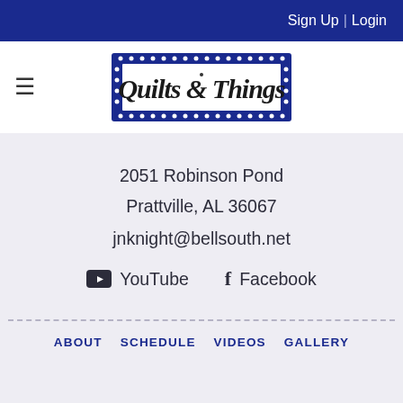Sign Up | Login
[Figure (logo): Quilts & Things store logo with decorative font on dark blue bordered background with dot pattern]
2051 Robinson Pond
Prattville, AL 36067
jnknight@bellsouth.net
YouTube  Facebook
ABOUT  SCHEDULE  VIDEOS  GALLERY